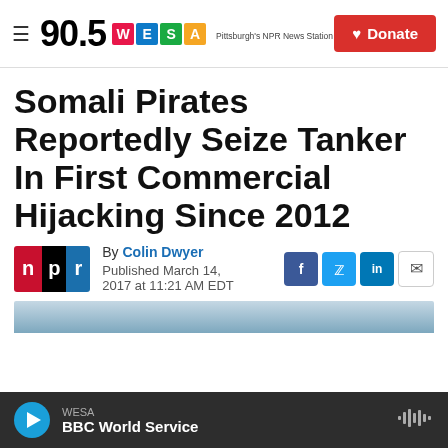90.5 WESA — Pittsburgh's NPR News Station | Donate
Somali Pirates Reportedly Seize Tanker In First Commercial Hijacking Since 2012
By Colin Dwyer
Published March 14, 2017 at 11:21 AM EDT
[Figure (logo): NPR logo with red N, white p, blue r on black background]
[Figure (photo): Partial photo visible at bottom of article, appears to be ocean/ship scene]
WESA
BBC World Service